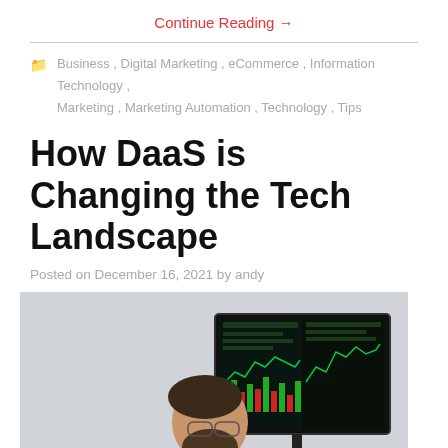Continue Reading →
Business , Digital Marketing , eCommerce , Information Technology , Marketing , Marketing Automation , Technology , Tips
How DaaS is Changing the Tech Landscape
Posted on December 16, 2021 by andy
[Figure (photo): A man in a dark jacket, viewed from behind/side profile, looking at a large monitor displaying financial trading data/charts, while holding a tablet device showing similar data. Background is a light grey wall.]